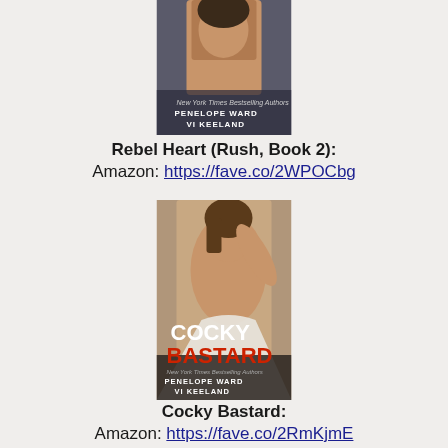[Figure (illustration): Book cover for Rebel Heart (Rush, Book 2) by Penelope Ward and Vi Keeland — shows a shirtless man, partially cropped]
Rebel Heart (Rush, Book 2):
Amazon: https://fave.co/2WPOCbg
[Figure (illustration): Book cover for Cocky Bastard by Penelope Ward and Vi Keeland — shows a man with hand behind his head, shirtless, with white text COCKY and red text BASTARD]
Cocky Bastard:
Amazon: https://fave.co/2RmKjmE